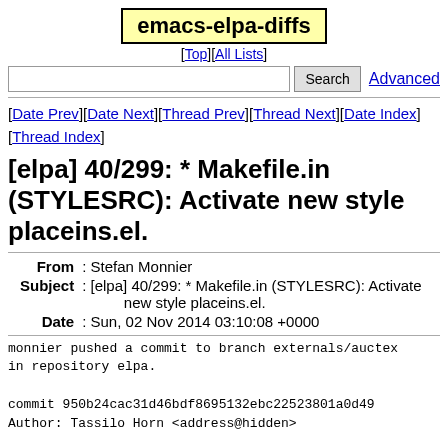emacs-elpa-diffs
[Top][All Lists]
Search  Advanced
[Date Prev][Date Next][Thread Prev][Thread Next][Date Index][Thread Index]
[elpa] 40/299: * Makefile.in (STYLESRC): Activate new style placeins.el.
| Field | Value |
| --- | --- |
| From | Stefan Monnier |
| Subject | [elpa] 40/299: * Makefile.in (STYLESRC): Activate new style placeins.el. |
| Date | Sun, 02 Nov 2014 03:10:08 +0000 |
monnier pushed a commit to branch externals/auctex
in repository elpa.

commit 950b24cac31d46bdf8695132ebc22523801a0d49
Author: Tassilo Horn <address@hidden>